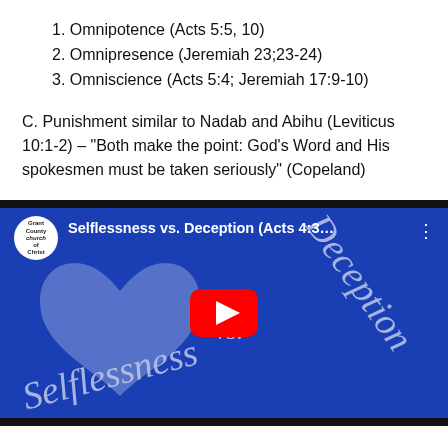1. Omnipotence (Acts 5:5, 10)
2. Omnipresence (Jeremiah 23;23-24)
3. Omniscience (Acts 5:4; Jeremiah 17:9-10)
C. Punishment similar to Nadab and Abihu (Leviticus 10:1-2) – “Both make the point: God’s Word and His spokesmen must be taken seriously” (Copeland)
[Figure (screenshot): YouTube video thumbnail titled 'Selflessness vs. Deception (Acts 4:3...' from Grant County Church of Christ channel. Blue background with white painted text 'Selflessness' and 'Deception' with a heart shape. Red YouTube play button in the center.]